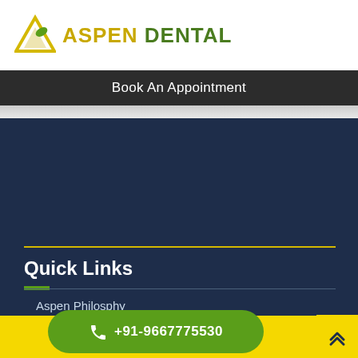[Figure (logo): Aspen Dental logo with triangle/mountain icon in yellow-green and brand name]
Book An Appointment
Quick Links
Aspen Philosphy
Team
Blog
+91-9667775530